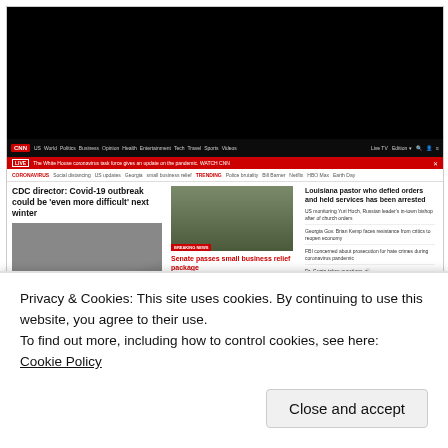[Figure (screenshot): CNN.com website screenshot showing navigation bar, live ticker, topic navigation, and news stories about CDC director Covid-19 warning, Senate small business relief package, and Louisiana pastor arrested]
Privacy & Cookies: This site uses cookies. By continuing to use this website, you agree to their use.
To find out more, including how to control cookies, see here:
Cookie Policy
Close and accept